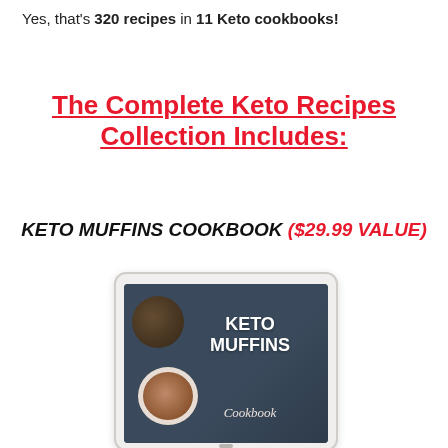Yes, that's 320 recipes in 11 Keto cookbooks!
The Complete Keto Recipes Collection Includes:
KETO MUFFINS COOKBOOK ($29.99 VALUE)
[Figure (photo): Tablet device displaying the Keto Muffins Cookbook cover, featuring muffins and a coffee cup on a dark blue-grey background with white bold text reading 'KETO MUFFINS Cookbook']